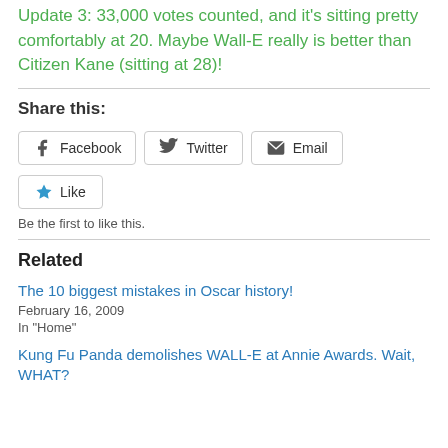Update 3: 33,000 votes counted, and it's sitting pretty comfortably at 20. Maybe Wall-E really is better than Citizen Kane (sitting at 28)!
Share this:
Facebook  Twitter  Email
Like
Be the first to like this.
Related
The 10 biggest mistakes in Oscar history!
February 16, 2009
In "Home"
Kung Fu Panda demolishes WALL-E at Annie Awards. Wait, WHAT?